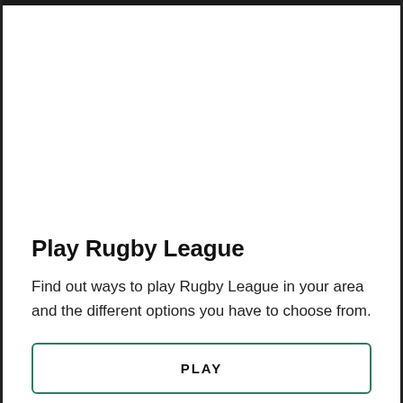Play Rugby League
Find out ways to play Rugby League in your area and the different options you have to choose from.
PLAY